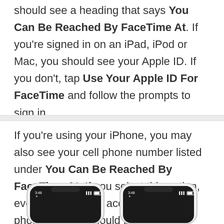should see a heading that says You Can Be Reached By FaceTime At. If you're signed in on an iPad, iPod or Mac, you should see your Apple ID. If you don't, tap Use Your Apple ID For FaceTime and follow the prompts to sign in.
If you're using your iPhone, you may also see your cell phone number listed under You Can Be Reached By FaceTime At. If you select this option, everyone who has access to your cell phone number should be able to contact you over FaceTime.
[Figure (photo): Two iPhone screens shown side by side from the top, both displaying 3:48 time, partially cropped at the bottom of the page.]